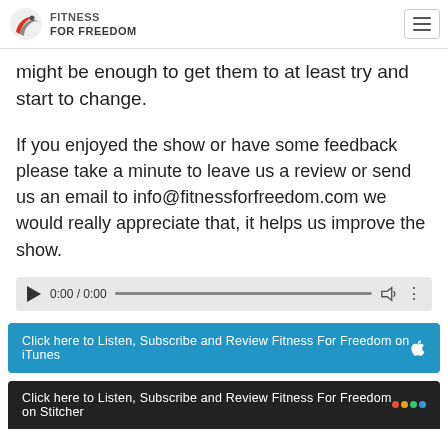Fitness For Freedom
might be enough to get them to at least try and start to change.
If you enjoyed the show or have some feedback please take a minute to leave us a review or send us an email to info@fitnessforfreedom.com we would really appreciate that, it helps us improve the show.
[Figure (screenshot): Audio player widget showing 0:00 / 0:00, play button, progress bar, volume and more icons]
[Figure (screenshot): Blue CTA button: Click here to Listen, Subscribe and Review Fitness For Freedom on iTunes with Apple logo]
[Figure (screenshot): Dark CTA button: Click here to Listen, Subscribe and Review Fitness For Freedom on Stitcher with colorful dots]